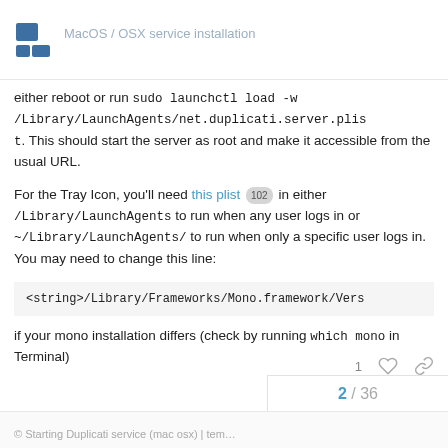MacOS / OSX service installation
either reboot or run sudo launchctl load -w /Library/LaunchAgents/net.duplicati.server.plist. This should start the server as root and make it accessible from the usual URL.
For the Tray Icon, you'll need this plist [102] in either /Library/LaunchAgents to run when any user logs in or ~/Library/LaunchAgents/ to run when only a specific user logs in. You may need to change this line:
<string>/Library/Frameworks/Mono.framework/Vers
if your mono installation differs (check by running which mono in Terminal)
2 / 36